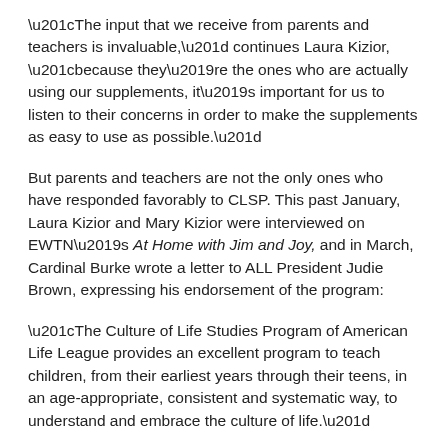“The input that we receive from parents and teachers is invaluable,” continues Laura Kizior, “because they’re the ones who are actually using our supplements, it’s important for us to listen to their concerns in order to make the supplements as easy to use as possible.”
But parents and teachers are not the only ones who have responded favorably to CLSP. This past January, Laura Kizior and Mary Kizior were interviewed on EWTN’s At Home with Jim and Joy, and in March, Cardinal Burke wrote a letter to ALL President Judie Brown, expressing his endorsement of the program:
“The Culture of Life Studies Program of American Life League provides an excellent program to teach children, from their earliest years through their teens, in an age-appropriate, consistent and systematic way, to understand and embrace the culture of life.”
The Culture of Life Studies Program has big plans for the future, which include the introduction of their first